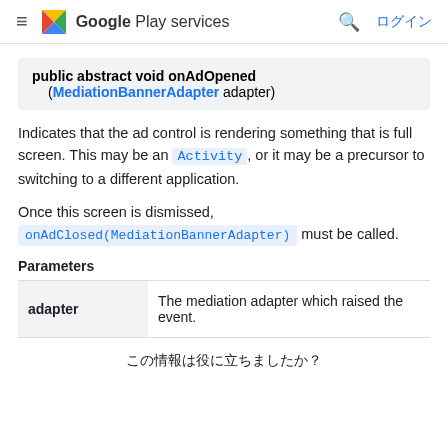≡ Google Play services 🔍 ログイン
public abstract void onAdOpened (MediationBannerAdapter adapter)
Indicates that the ad control is rendering something that is full screen. This may be an Activity, or it may be a precursor to switching to a different application.
Once this screen is dismissed, onAdClosed(MediationBannerAdapter) must be called.
Parameters
|  |  |
| --- | --- |
| adapter | The mediation adapter which raised the event. |
この情報は役に立ちましたか？